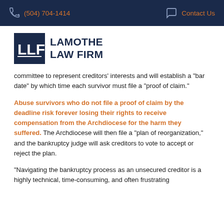(504) 704-1414   Contact Us
[Figure (logo): Lamothe Law Firm logo with LLF monogram in dark navy box and firm name text]
committee to represent creditors' interests and will establish a "bar date" by which time each survivor must file a "proof of claim."
Abuse survivors who do not file a proof of claim by the deadline risk forever losing their rights to receive compensation from the Archdiocese for the harm they suffered. The Archdiocese will then file a "plan of reorganization," and the bankruptcy judge will ask creditors to vote to accept or reject the plan.
"Navigating the bankruptcy process as an unsecured creditor is a highly technical, time-consuming, and often frustrating